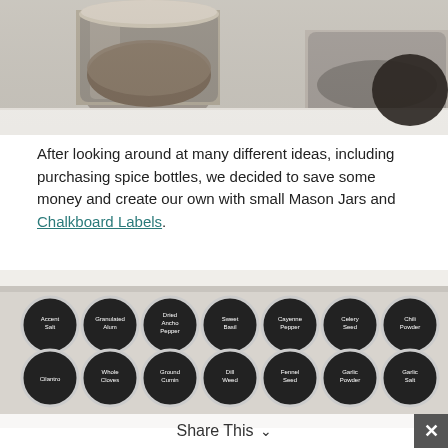[Figure (photo): Close-up photo of mason jars filled with spices/seeds on a white shelf, viewed from the side]
After looking around at many different ideas, including purchasing spice bottles, we decided to save some money and create our own with small Mason Jars and Chalkboard Labels.
[Figure (photo): Overhead view of a drawer filled with small mason jars arranged in rows, each topped with round chalkboard labels naming various spices: Accent Salt, Granulated Alum, Dried Ancho Pepper, Sweet Basil, Cayenne Pepper, Celery Seed, Chili Powder, Chinese 5 Spice, Dried Chives, Cilantro, Whole Cloves, Ground Cumin, Dill Weed, Fennel Seed, Garlic Powder, Garlic Salt, Lavender Greek Seasoning, Ground Mustard, Mustard Seed, Old Bay Seasoning, Onion Powder, Dried Oregano, Ground Oregano, Paprika, Smoked Paprika, Parsley Flakes, Poppy Seed, and more]
Share This  ✓  ✕